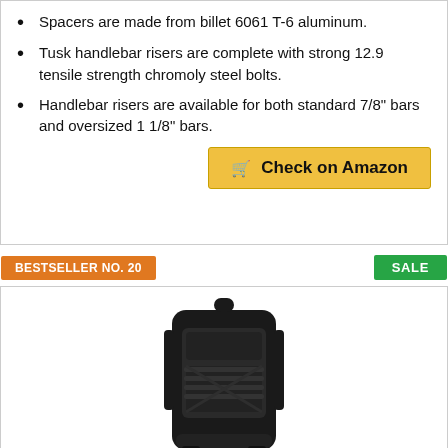Spacers are made from billet 6061 T-6 aluminum.
Tusk handlebar risers are complete with strong 12.9 tensile strength chromoly steel bolts.
Handlebar risers are available for both standard 7/8" bars and oversized 1 1/8" bars.
Check on Amazon
BESTSELLER NO. 20
SALE
[Figure (photo): Black tactical backpack product photo, front view, on white background]